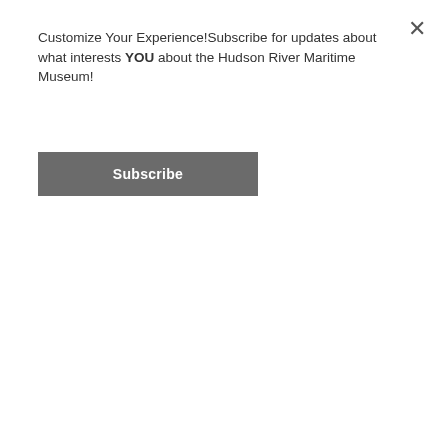Customize Your Experience!Subscribe for updates about what interests YOU about the Hudson River Maritime Museum!
Subscribe
way you can. I want to pick them up as they will be waiting for us."
So, Captain Hamilton put the “Washburn” into the dock at Esopus, and when he went to back down, clip went the wheel on a rock and bent two of the propeller’s flukes: However, when the “Washburn” left Esopus for Poughkeepsie — instead of shaking all over as normally would be the case with a bent propeller — she went as well, if not better, than when the propeller was in good condition. Everybody thought the flukes must have been broken off, but when she was put on drydock, the flukes weren’t broken but only bent.